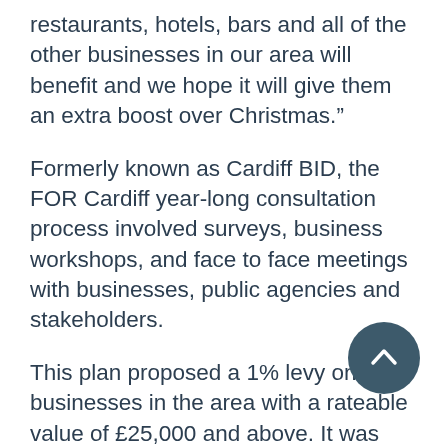restaurants, hotels, bars and all of the other businesses in our area will benefit and we hope it will give them an extra boost over Christmas.”
Formerly known as Cardiff BID, the FOR Cardiff year-long consultation process involved surveys, business workshops, and face to face meetings with businesses, public agencies and stakeholders.
This plan proposed a 1% levy on all businesses in the area with a rateable value of £25,000 and above. It was then sent to all relevant businesses in the summer of 2016 outlining what projects the BID would deliver, the area, budgets, legislation guidelines and governance.
Those eligible businesses were asked to take